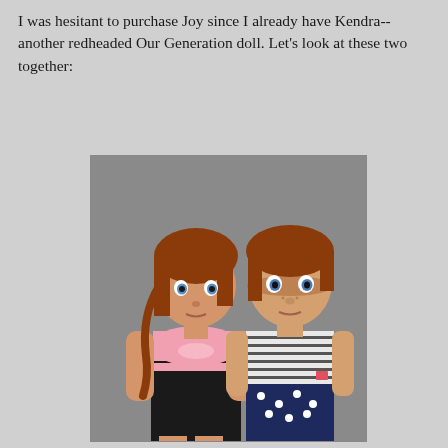I was hesitant to purchase Joy since I already have Kendra--another redheaded Our Generation doll.  Let's look at these two together:
[Figure (photo): Two redheaded Our Generation dolls side by side. The left doll (Kendra) has a long braided ponytail and wears a black dress with a pink top/bow. The right doll (Joy) has short hair, blue eyes, freckles, and wears a striped shirt with navy polka-dot pants. Both have blue eyes and auburn/red hair. Gray studio background.]